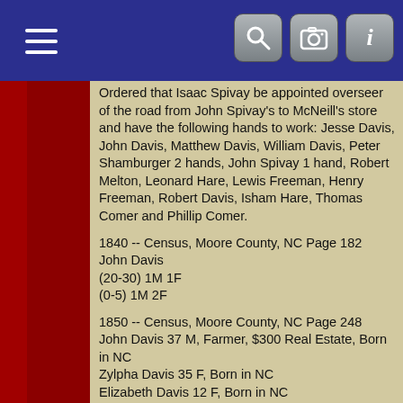Navigation bar with menu, search, camera, and info buttons
Ordered that Isaac Spivay be appointed overseer of the road from John Spivay's to McNeill's store and have the following hands to work: Jesse Davis, John Davis, Matthew Davis, William Davis, Peter Shamburger 2 hands, John Spivay 1 hand, Robert Melton, Leonard Hare, Lewis Freeman, Henry Freeman, Robert Davis, Isham Hare, Thomas Comer and Phillip Comer.
1840 -- Census, Moore County, NC Page 182
John Davis
(20-30) 1M 1F
(0-5) 1M 2F
1850 -- Census, Moore County, NC Page 248
John Davis 37 M, Farmer, $300 Real Estate, Born in NC
Zylpha Davis 35 F, Born in NC
Elizabeth Davis 12 F, Born in NC
Jane Davis 11 F, Born in NC
George Davis 9 M, Born in NC
Levi Davis 8 M, Born in NC
Letitia Davis 7 F, Born in NC
Leanda Davis 6 F, Born in NC
Mary Davis 4 F, Born in NC
Hayman Davis 3 M, Born in NC
Martha Davis 1 F, Born in NC